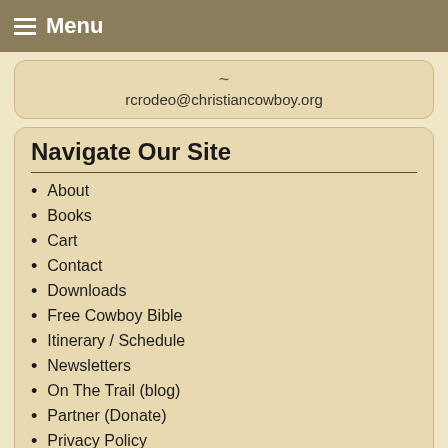Menu
~ rcrodeo@christiancowboy.org
Navigate Our Site
About
Books
Cart
Contact
Downloads
Free Cowboy Bible
Itinerary / Schedule
Newsletters
On The Trail (blog)
Partner (Donate)
Privacy Policy
Protected Content
Register
Shop
The BIG Question
Video Messages
Checkout